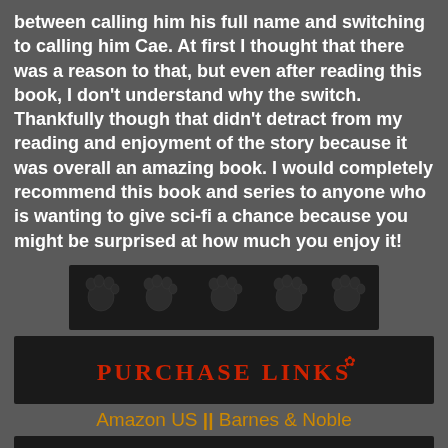between calling him his full name and switching to calling him Cae. At first I thought that there was a reason to that, but even after reading this book, I don't understand why the switch.  Thankfully though that didn't detract from my reading and enjoyment of the story because it was overall an amazing book. I would completely recommend this book and series to anyone who is wanting to give sci-fi a chance because you might be surprised at how much you enjoy it!
[Figure (other): Rating bar with 5 paw print icons on a dark background]
[Figure (other): Purchase Links banner with red decorative text on black background]
Amazon US || Barnes & Noble
[Figure (other): The Rest...of the Series banner with red decorative text on black background]
· · · ·